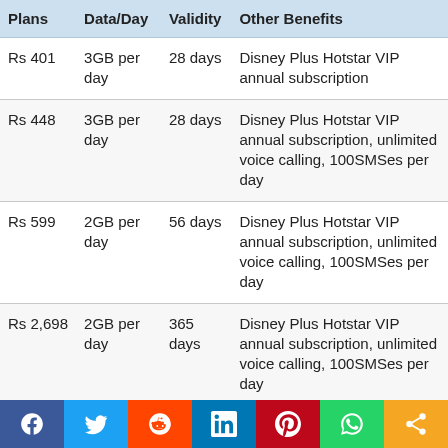| Plans | Data/Day | Validity | Other Benefits |
| --- | --- | --- | --- |
| Rs 401 | 3GB per day | 28 days | Disney Plus Hotstar VIP annual subscription |
| Rs 448 | 3GB per day | 28 days | Disney Plus Hotstar VIP annual subscription, unlimited voice calling, 100SMSes per day |
| Rs 599 | 2GB per day | 56 days | Disney Plus Hotstar VIP annual subscription, unlimited voice calling, 100SMSes per day |
| Rs 2,698 | 2GB per day | 365 days | Disney Plus Hotstar VIP annual subscription, unlimited voice calling, 100SMSes per day |
[Figure (infographic): Social media sharing bar with buttons for Facebook, Twitter, Reddit, LinkedIn, Pinterest, WhatsApp, and a share icon]